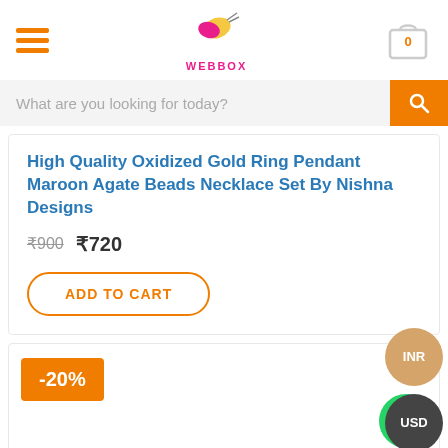WEBBOX — e-commerce site header with logo, hamburger menu, cart icon (0)
What are you looking for today?
High Quality Oxidized Gold Ring Pendant Maroon Agate Beads Necklace Set By Nishna Designs
₹900 ₹720
ADD TO CART
[Figure (other): INR currency selector button (orange circle)]
[Figure (other): USD currency selector button (dark grey circle)]
-20%
[Figure (other): WhatsApp contact button (green circle with phone icon)]